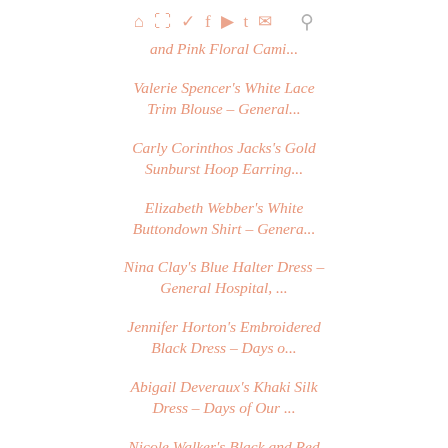home pinterest twitter facebook instagram tumblr email search
and Pink Floral Cami...
Valerie Spencer's White Lace Trim Blouse - General...
Carly Corinthos Jacks's Gold Sunburst Hoop Earring...
Elizabeth Webber's White Buttondown Shirt – Genera...
Nina Clay's Blue Halter Dress – General Hospital, ...
Jennifer Horton's Embroidered Black Dress – Days o...
Abigail Deveraux's Khaki Silk Dress – Days of Our ...
Nicole Walker's Black and Red Print Dress – Days o...